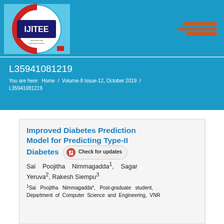[Figure (logo): IJITEE journal logo with circular design and blue background]
L35941081219
You are here: Home / Volume-8 Issue-12, October 2019 / L35941081219
Improved Diabetes Prediction Model for Predicting Type-II Diabetes
Sai Poojitha Nimmagadda¹, Sagar Yeruva², Rakesh Siempu³
¹Sai Poojitha Nimmagadda*, Post-graduate student, Department of Computer Science and Engineering, VNR